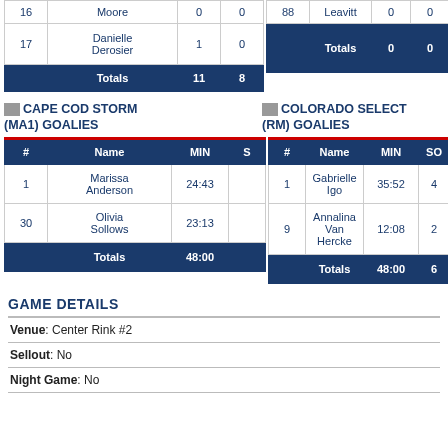| # | Name | G | A |
| --- | --- | --- | --- |
| 16 | Moore | 0 | 0 |
| 17 | Danielle Derosier | 1 | 0 |
|  | Totals | 11 | 8 |
| # | Name | G | A |
| --- | --- | --- | --- |
| 88 | Leavitt | 0 | 0 |
|  | Totals | 0 | 0 |
CAPE COD STORM (MA1) GOALIES
COLORADO SELECT (RM) GOALIES
| # | Name | MIN | S |
| --- | --- | --- | --- |
| 1 | Marissa Anderson | 24:43 |  |
| 30 | Olivia Sollows | 23:13 |  |
|  | Totals | 48:00 |  |
| # | Name | MIN | SO |
| --- | --- | --- | --- |
| 1 | Gabrielle Igo | 35:52 | 4 |
| 9 | Annalina Van Hercke | 12:08 | 2 |
|  | Totals | 48:00 | 6 |
GAME DETAILS
Venue: Center Rink #2
Sellout: No
Night Game: No